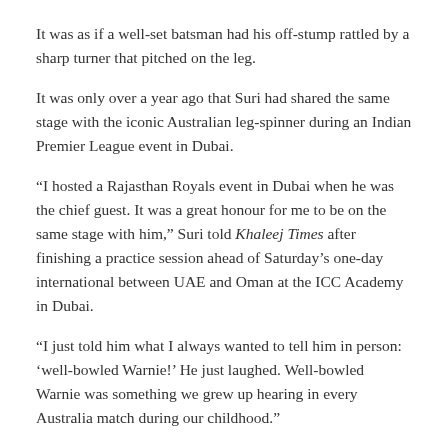It was as if a well-set batsman had his off-stump rattled by a sharp turner that pitched on the leg.
It was only over a year ago that Suri had shared the same stage with the iconic Australian leg-spinner during an Indian Premier League event in Dubai.
“I hosted a Rajasthan Royals event in Dubai when he was the chief guest. It was a great honour for me to be on the same stage with him,” Suri told Khaleej Times after finishing a practice session ahead of Saturday’s one-day international between UAE and Oman at the ICC Academy in Dubai.
“I just told him what I always wanted to tell him in person: ‘well-bowled Warnie!’ He just laughed. Well-bowled Warnie was something we grew up hearing in every Australia match during our childhood.”
For Suri, Warne’s greatest trait was not his famous ability to